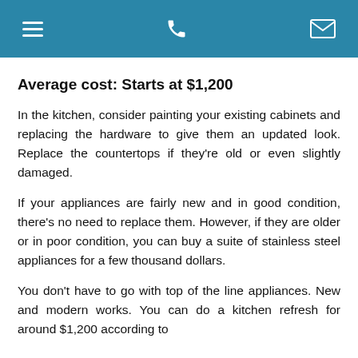[Navigation bar with hamburger menu, phone icon, and mail icon]
Average cost: Starts at $1,200
In the kitchen, consider painting your existing cabinets and replacing the hardware to give them an updated look. Replace the countertops if they're old or even slightly damaged.
If your appliances are fairly new and in good condition, there's no need to replace them. However, if they are older or in poor condition, you can buy a suite of stainless steel appliances for a few thousand dollars.
You don't have to go with top of the line appliances. New and modern works. You can do a kitchen refresh for around $1,200 according to